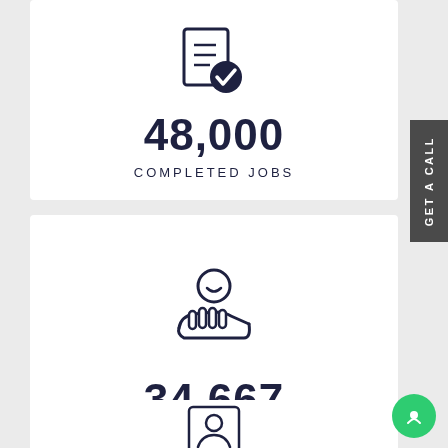[Figure (illustration): Checklist with a dark navy checkmark badge icon]
48,000
COMPLETED JOBS
[Figure (illustration): Person on a hand (customer service) icon in dark navy outline style]
34,667
SATISFIED CUSTOMERS
[Figure (illustration): ID card / person card icon partially visible at bottom]
GET A CALL